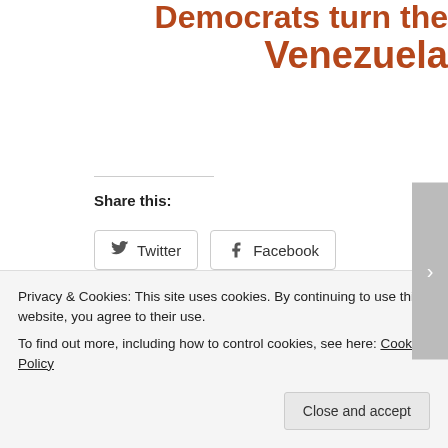Democrats turn the Venezuela
Share this:
Twitter
Facebook
Loading...
Posted in Uncategorized | Leave a comment
Trump/Biden
Privacy & Cookies: This site uses cookies. By continuing to use this website, you agree to their use.
To find out more, including how to control cookies, see here: Cookie Policy
Close and accept